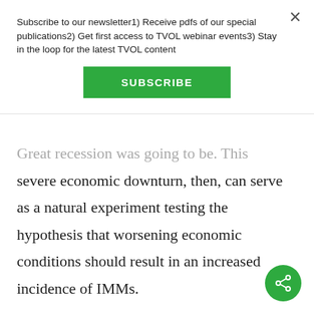Subscribe to our newsletter1) Receive pdfs of our special publications2) Get first access to TVOL webinar events3) Stay in the loop for the latest TVOL content
SUBSCRIBE
Great recession was going to be. This severe economic downturn, then, can serve as a natural experiment testing the hypothesis that worsening economic conditions should result in an increased incidence of IMMs.
Here's what the data say: